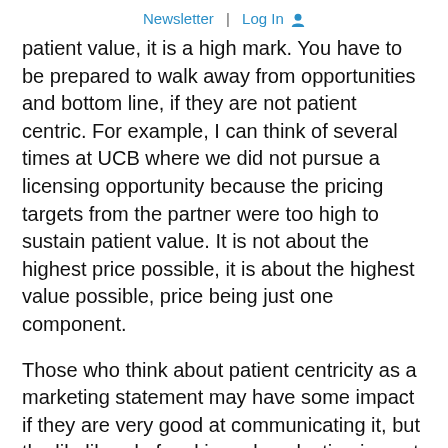Newsletter  |  Log In
patient value, it is a high mark. You have to be prepared to walk away from opportunities and bottom line, if they are not patient centric. For example, I can think of several times at UCB where we did not pursue a licensing opportunity because the pricing targets from the partner were too high to sustain patient value. It is not about the highest price possible, it is about the highest value possible, price being just one component.
Those who think about patient centricity as a marketing statement may have some impact if they are very good at communicating it, but the likelihood of making a long lasting impact is not high. Those that test every single decision, ensuring that the culture of the company (and it